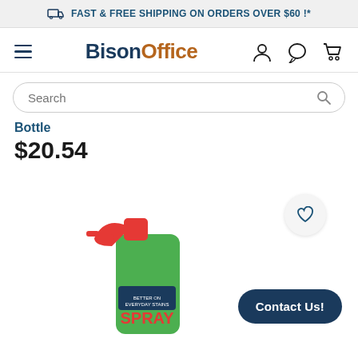FAST & FREE SHIPPING ON ORDERS OVER $60 !*
[Figure (logo): BisonOffice logo with hamburger menu, user icon, chat icon, and cart icon]
Search
Bottle
$20.54
[Figure (photo): Green spray cleaner bottle with red trigger — SPRAY brand label, partially visible]
Contact Us!